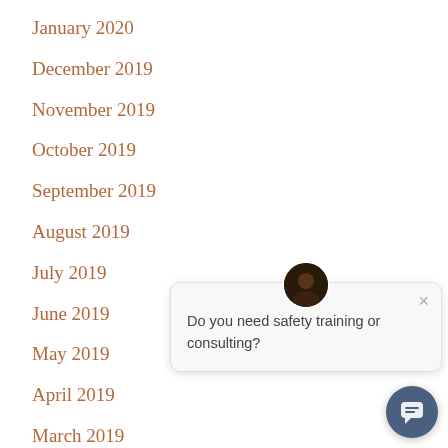January 2020
December 2019
November 2019
October 2019
September 2019
August 2019
July 2019
June 2019
May 2019
April 2019
March 2019
February 2019
[Figure (screenshot): Chat popup widget with avatar, close button, and message 'Do you need safety training or consulting?' plus a chat launcher button]